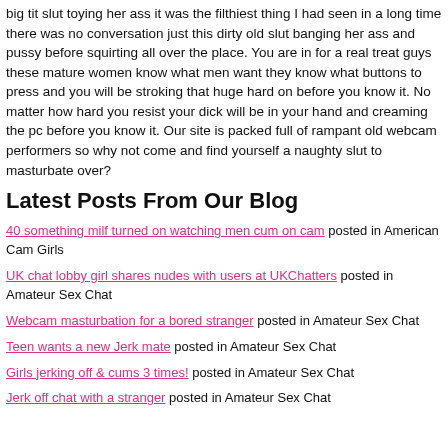big tit slut toying her ass it was the filthiest thing I had seen in a long time there was no conversation just this dirty old slut banging her ass and pussy before squirting all over the place. You are in for a real treat guys these mature women know what men want they know what buttons to press and you will be stroking that huge hard on before you know it. No matter how hard you resist your dick will be in your hand and creaming the pc before you know it. Our site is packed full of rampant old webcam performers so why not come and find yourself a naughty slut to masturbate over?
Latest Posts From Our Blog
40 something milf turned on watching men cum on cam posted in American Cam Girls
UK chat lobby girl shares nudes with users at UKChatters posted in Amateur Sex Chat
Webcam masturbation for a bored stranger posted in Amateur Sex Chat
Teen wants a new Jerk mate posted in Amateur Sex Chat
Girls jerking off & cums 3 times! posted in Amateur Sex Chat
Jerk off chat with a stranger posted in Amateur Sex Chat